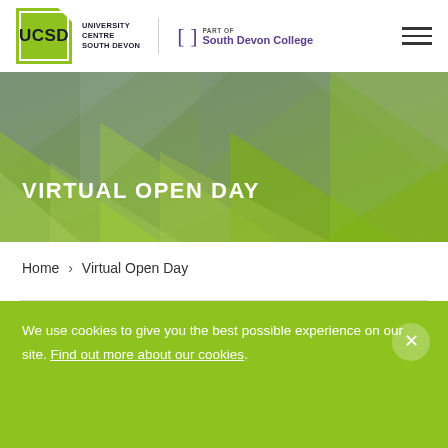UCSD University Centre South Devon — Part of South Devon College
[Figure (illustration): Hero banner with geometric triangle pattern in green and grey tones, with white text reading VIRTUAL OPEN DAY]
VIRTUAL OPEN DAY
Home > Virtual Open Day
We use cookies to give you the best possible experience on our site. Find out more about our cookies.